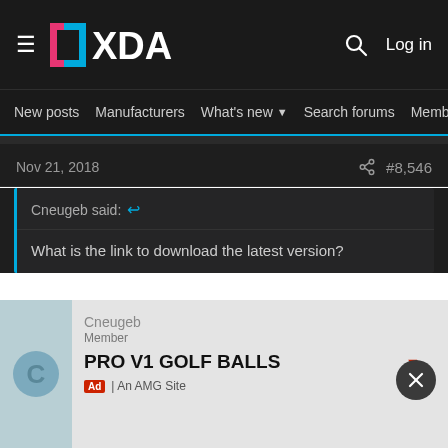XDA Developers — Log in
New posts  Manufacturers  What's new  Search forums  Members  >
Nov 21, 2018  #8,546
Cneugeb said: ↩
What is the link to download the latest version?
Try the big download button in the second post
[Figure (other): Advertisement banner: PRO V1 GOLF BALLS — An AMG Site, with user avatar (C) and red arrow link]